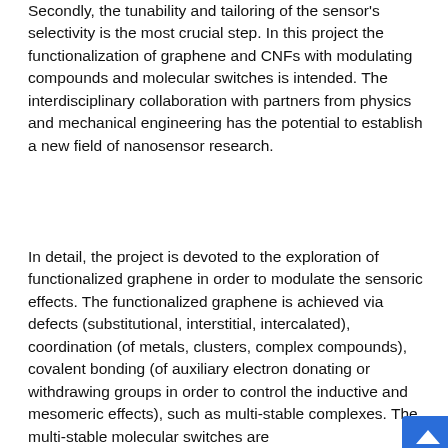Secondly, the tunability and tailoring of the sensor's selectivity is the most crucial step. In this project the functionalization of graphene and CNFs with modulating compounds and molecular switches is intended. The interdisciplinary collaboration with partners from physics and mechanical engineering has the potential to establish a new field of nanosensor research.
In detail, the project is devoted to the exploration of functionalized graphene in order to modulate the sensoric effects. The functionalized graphene is achieved via defects (substitutional, interstitial, intercalated), coordination (of metals, clusters, complex compounds), covalent bonding (of auxiliary electron donating or withdrawing groups in order to control the inductive and mesomeric effects), such as multi-stable complexes. The multi-stable molecular switches are